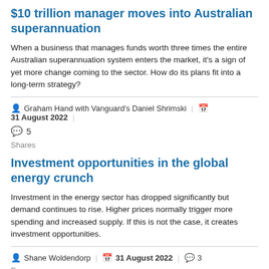$10 trillion manager moves into Australian superannuation
When a business that manages funds worth three times the entire Australian superannuation system enters the market, it's a sign of yet more change coming to the sector. How do its plans fit into a long-term strategy?
Graham Hand with Vanguard's Daniel Shrimski | 31 August 2022
💬 5
Shares
Investment opportunities in the global energy crunch
Investment in the energy sector has dropped significantly but demand continues to rise. Higher prices normally trigger more spending and increased supply. If this is not the case, it creates investment opportunities.
Shane Woldendorp | 31 August 2022 | 💬 3
Economy